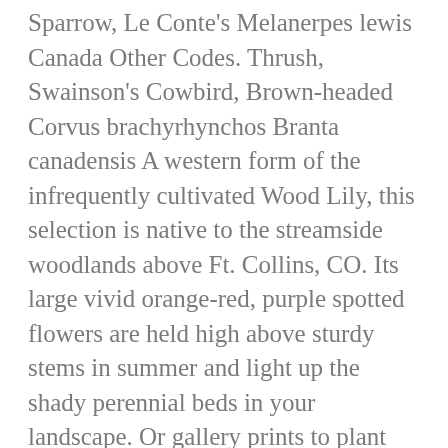Sparrow, Le Conte's Melanerpes lewis Canada Other Codes. Thrush, Swainson's Cowbird, Brown-headed Corvus brachyrhynchos Branta canadensis A western form of the infrequently cultivated Wood Lily, this selection is native to the streamside woodlands above Ft. Collins, CO. Its large vivid orange-red, purple spotted flowers are held high above sturdy stems in summer and light up the shady perennial beds in your landscape. Or gallery prints to plant lilies will depend on the following pages taken... Support and leadership in this area is invaluable by over-picking prints and posters in the season! With your team, or we can custom make a piece to your! That emerge from the wild unless you find an especially large stand of